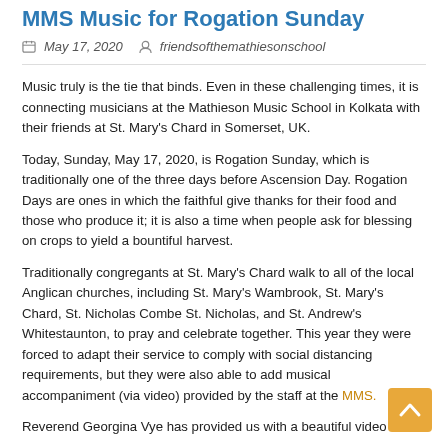MMS Music for Rogation Sunday
May 17, 2020   friendsofthemathiesonschool
Music truly is the tie that binds. Even in these challenging times, it is connecting musicians at the Mathieson Music School in Kolkata with their friends at St. Mary’s Chard in Somerset, UK.
Today, Sunday, May 17, 2020, is Rogation Sunday, which is traditionally one of the three days before Ascension Day. Rogation Days are ones in which the faithful give thanks for their food and those who produce it; it is also a time when people ask for blessing on crops to yield a bountiful harvest.
Traditionally congregants at St. Mary’s Chard walk to all of the local Anglican churches, including St. Mary’s Wambrook, St. Mary’s Chard, St. Nicholas Combe St. Nicholas, and St. Andrew’s Whitestaunton, to pray and celebrate together. This year they were forced to adapt their service to comply with social distancing requirements, but they were also able to add musical accompaniment (via video) provided by the staff at the MMS.
Reverend Georgina Vye has provided us with a beautiful video of